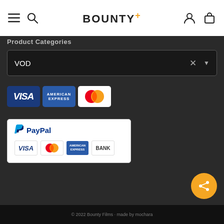BOUNTY+
Product Categories
VOD
[Figure (logo): Payment logos row: VISA, American Express, Mastercard]
[Figure (logo): PayPal payment panel showing PayPal, VISA, MasterCard, American Express, BANK logos]
© 2022 Bounty Films · made by mochara